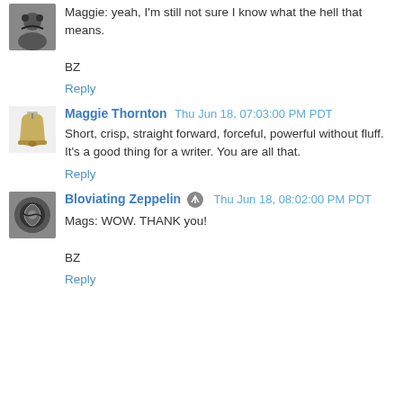Maggie: yeah, I'm still not sure I know what the hell that means.

BZ
Reply
Maggie Thornton  Thu Jun 18, 07:03:00 PM PDT
Short, crisp, straight forward, forceful, powerful without fluff. It's a good thing for a writer. You are all that.
Reply
Bloviating Zeppelin  Thu Jun 18, 08:02:00 PM PDT
Mags: WOW. THANK you!

BZ
Reply